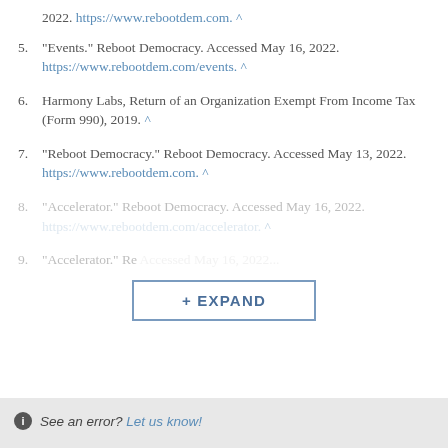2022. https://www.rebootdem.com. ^
5. “Events.” Reboot Democracy. Accessed May 16, 2022. https://www.rebootdem.com/events. ^
6. Harmony Labs, Return of an Organization Exempt From Income Tax (Form 990), 2019. ^
7. “Reboot Democracy.” Reboot Democracy. Accessed May 13, 2022. https://www.rebootdem.com. ^
8. “Accelerator.” Reboot Democracy. Accessed May 16, 2022. https://www.rebootdem.com/accelerator. ^
9. “Accelerator.” Re... Accessed May 16, 2022...
+ EXPAND
See an error? Let us know!